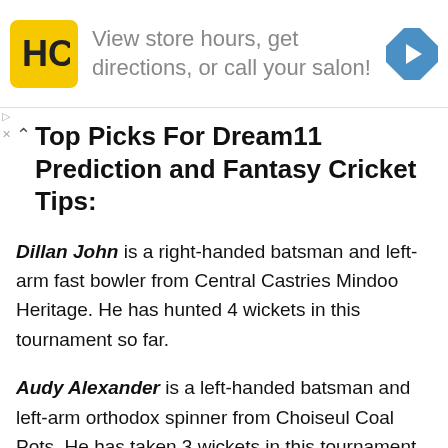[Figure (infographic): Advertisement banner with HC logo (yellow square), text 'View store hours, get directions, or call your salon!', and a blue navigation arrow icon on the right.]
Top Picks For Dream11 Prediction and Fantasy Cricket Tips:
Dillan John is a right-handed batsman and left-arm fast bowler from Central Castries Mindoo Heritage. He has hunted 4 wickets in this tournament so far.
Audy Alexander is a left-handed batsman and left-arm orthodox spinner from Choiseul Coal Pots. He has taken 3 wickets in this tournament so far.